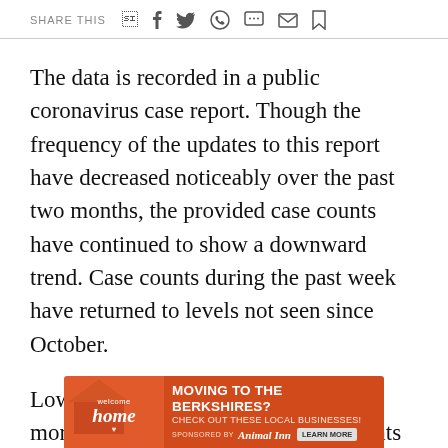SHARE THIS
The data is recorded in a public coronavirus case report. Though the frequency of the updates to this report have decreased noticeably over the past two months, the provided case counts have continued to show a downward trend. Case counts during the past week have returned to levels not seen since October.
Low case counts have come only after more than one-fourth of district students reported a corona... have b...
[Figure (infographic): Advertisement overlay for 'Welcome Home' moving to the Berkshires, sponsored by Animal Inn with a Learn More button]